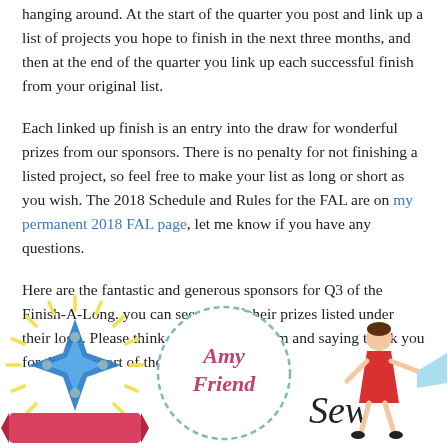hanging around. At the start of the quarter you post and link up a list of projects you hope to finish in the next three months, and then at the end of the quarter you link up each successful finish from your original list.
Each linked up finish is an entry into the draw for wonderful prizes from our sponsors. There is no penalty for not finishing a listed project, so feel free to make your list as long or short as you wish. The 2018 Schedule and Rules for the FAL are on my permanent 2018 FAL page, let me know if you have any questions.
Here are the fantastic and generous sponsors for Q3 of the Finish-A-Long. you can see each of their prizes listed under their logo. Please think about visiting them and saying thank you for their support of the FAL.
[Figure (logo): Blue star/gem with yellow sunburst rays on a pink/red ribbon banner — sponsor logo 1]
[Figure (logo): Amy Friend logo: teal dashed circle with 'Amy Friend' in pink script text inside]
[Figure (logo): Sew partial logo: illustrated girl in red dress pulling fabric — partially cropped]